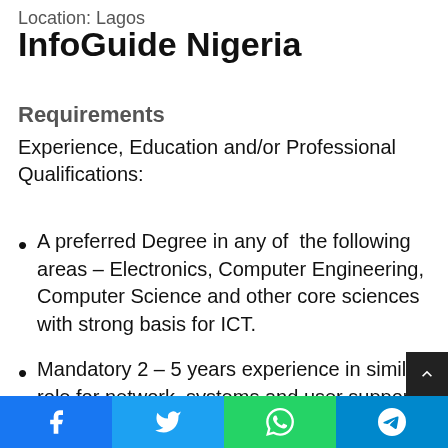Location: Lagos
InfoGuide Nigeria
Requirements
Experience, Education and/or Professional Qualifications:
A preferred Degree in any of the following areas – Electronics, Computer Engineering, Computer Science and other core sciences with strong basis for ICT.
Mandatory 2 – 5 years experience in similar role for network, systems and user support, and new solutions implementation support